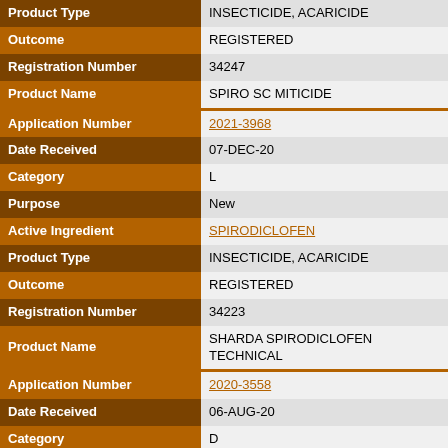| Field | Value |
| --- | --- |
| Product Type | INSECTICIDE, ACARICIDE |
| Outcome | REGISTERED |
| Registration Number | 34247 |
| Product Name | SPIRO SC MITICIDE |
| Application Number | 2021-3968 |
| Date Received | 07-DEC-20 |
| Category | L |
| Purpose | New |
| Active Ingredient | SPIRODICLOFEN |
| Product Type | INSECTICIDE, ACARICIDE |
| Outcome | REGISTERED |
| Registration Number | 34223 |
| Product Name | SHARDA SPIRODICLOFEN TECHNICAL |
| Application Number | 2020-3558 |
| Date Received | 06-AUG-20 |
| Category | D |
| Purpose | Renewal |
| Active Ingredient | SPIRODICLOFEN |
| Product Type | INSECTICIDE, ACARICIDE |
| Outcome | WITHDRAWN |
| Registration Number | Confidential |
| Product Name | Confidential |